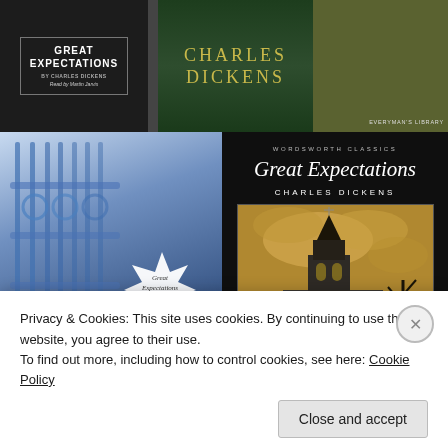[Figure (photo): Top row of three book covers for Great Expectations by Charles Dickens: audiobook with black background, green cover with author name, and a library edition with figures in a field]
[Figure (photo): Bottom left: blue/purple illustrated book cover of Great Expectations by Charles Dickens with iron gate and white starburst badge]
[Figure (photo): Bottom right: Wordsworth Classics edition of Great Expectations by Charles Dickens with dark church/chapel image]
Privacy & Cookies: This site uses cookies. By continuing to use this website, you agree to their use.
To find out more, including how to control cookies, see here: Cookie Policy
Close and accept